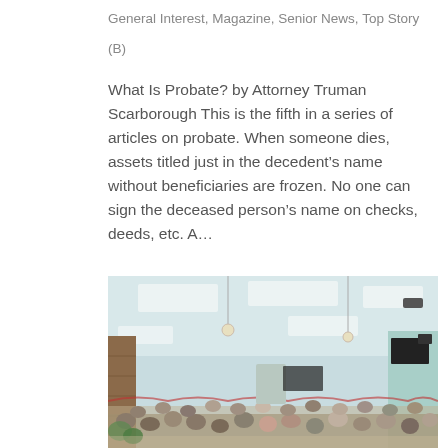General Interest, Magazine, Senior News, Top Story
(B)
What Is Probate? by Attorney Truman Scarborough This is the fifth in a series of articles on probate. When someone dies, assets titled just in the decedent’s name without beneficiaries are frozen. No one can sign the deceased person’s name on checks, deeds, etc. A…
[Figure (photo): Interior of a large community hall or banquet room with a mint green walls, fluorescent ceiling lights, and a crowd of people seated at tables, likely at a senior community event or gathering.]